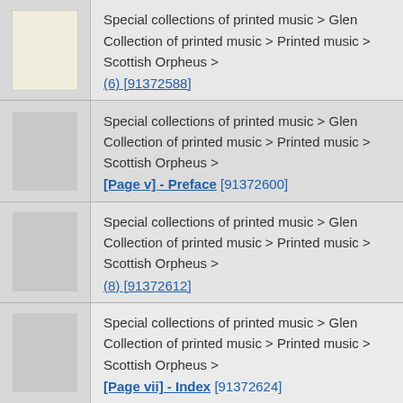Special collections of printed music > Glen Collection of printed music > Printed music > Scottish Orpheus > (6) [91372588]
Special collections of printed music > Glen Collection of printed music > Printed music > Scottish Orpheus > [Page v] - Preface [91372600]
Special collections of printed music > Glen Collection of printed music > Printed music > Scottish Orpheus > (8) [91372612]
Special collections of printed music > Glen Collection of printed music > Printed music > Scottish Orpheus > [Page vii] - Index [91372624]